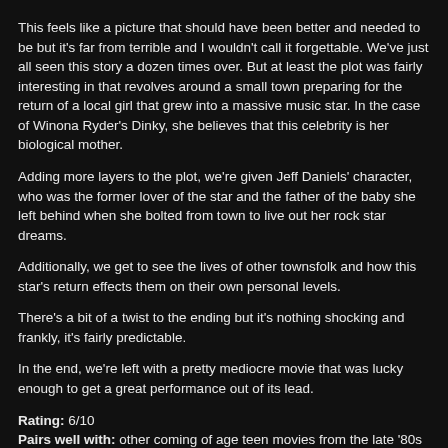This feels like a picture that should have been better and needed to be but it's far from terrible and I wouldn't call it forgettable. We've just all seen this story a dozen times over. But at least the plot was fairly interesting in that revolves around a small town preparing for the return of a local girl that grew into a massive music star. In the case of Winona Ryder's Dinky, she believes that this celebrity is her biological mother.
Adding more layers to the plot, we're given Jeff Daniels' character, who was the former lover of the star and the father of the baby she left behind when she bolted from town to live out her rock star dreams.
Additionally, we get to see the lives of other townsfolk and how this star's return effects them on their own personal levels.
There's a bit of a twist to the ending but it's nothing shocking and frankly, it's fairly predictable.
In the end, we're left with a pretty mediocre movie that was lucky enough to get a great performance out of its lead.
Rating: 6/10
Pairs well with: other coming of age teen movies from the late '80s and early '90s.